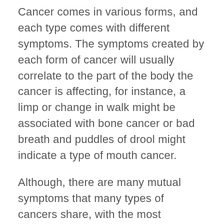Cancer comes in various forms, and each type comes with different symptoms. The symptoms created by each form of cancer will usually correlate to the part of the body the cancer is affecting, for instance, a limp or change in walk might be associated with bone cancer or bad breath and puddles of drool might indicate a type of mouth cancer.
Although, there are many mutual symptoms that many types of cancers share, with the most common one being evidence of a tumour, which we detailed earlier. Other signs and symptoms to look out for are:
🐾 Sores that fail to heal
🐾